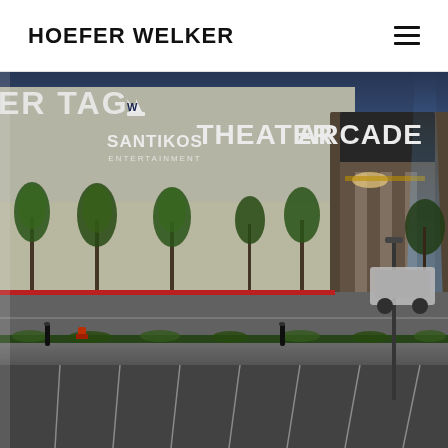HOEFER WELKER
[Figure (photo): Exterior night shot of Santikos Entertainment venue showing a large building with 'THEATER ARCADE' signage, illuminated trees, a parking lot in the foreground, and a bright blue light beam in the background. The Santikos Entertainment logo with a crown is visible on the building facade.]